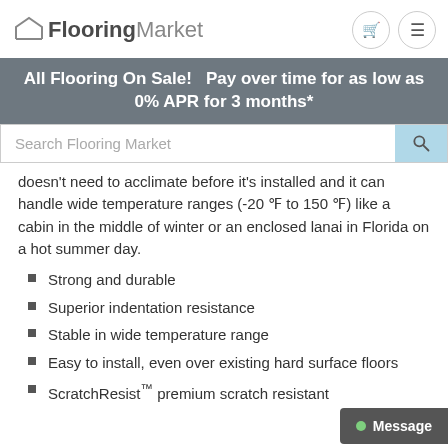FlooringMarket
All Flooring On Sale!   Pay over time for as low as 0% APR for 3 months*
Search Flooring Market
doesn't need to acclimate before it's installed and it can handle wide temperature ranges (-20°F to 150 °F) like a cabin in the middle of winter or an enclosed lanai in Florida on a hot summer day.
Strong and durable
Superior indentation resistance
Stable in wide temperature range
Easy to install, even over existing hard surface floors
ScratchResist™ premium scratch resistant